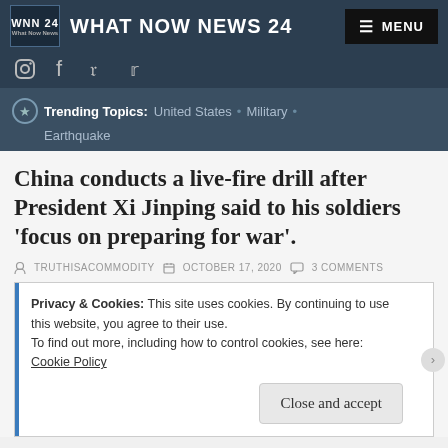WHAT NOW NEWS 24
Trending Topics: United States • Military • Earthquake
China conducts a live-fire drill after President Xi Jinping said to his soldiers 'focus on preparing for war'.
TRUTHISACOMMODITY   OCTOBER 17, 2020   3 COMMENTS
Privacy & Cookies: This site uses cookies. By continuing to use this website, you agree to their use.
To find out more, including how to control cookies, see here:
Cookie Policy
Close and accept